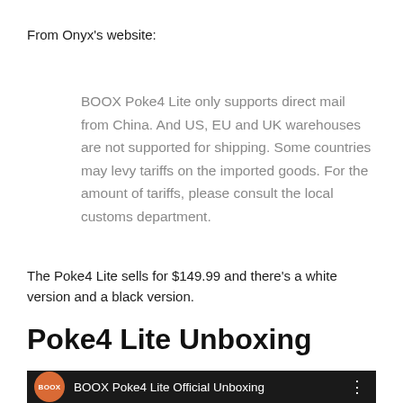From Onyx's website:
BOOX Poke4 Lite only supports direct mail from China. And US, EU and UK warehouses are not supported for shipping. Some countries may levy tariffs on the imported goods. For the amount of tariffs, please consult the local customs department.
The Poke4 Lite sells for $149.99 and there's a white version and a black version.
Poke4 Lite Unboxing
[Figure (screenshot): Video thumbnail bar showing BOOX orange circular logo and text 'BOOX Poke4 Lite Official Unboxing' on dark background with three-dot menu icon]